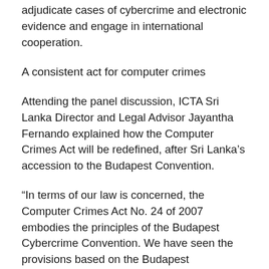adjudicate cases of cybercrime and electronic evidence and engage in international cooperation.
A consistent act for computer crimes
Attending the panel discussion, ICTA Sri Lanka Director and Legal Advisor Jayantha Fernando explained how the Computer Crimes Act will be redefined, after Sri Lanka's accession to the Budapest Convention.
“In terms of our law is concerned, the Computer Crimes Act No. 24 of 2007 embodies the principles of the Budapest Cybercrime Convention. We have seen the provisions based on the Budapest Convention which means that the defences that are identified in the Computer Crimes Act of Sri Lanka are consistent with the Budapest Convention. What is more important is that the procedure for investigations in the Computer Crimes Act is based entirely on the features of the Budapest